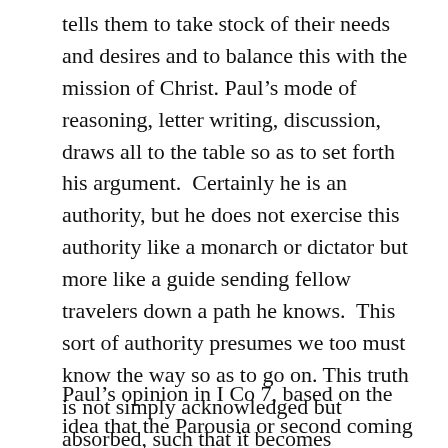tells them to take stock of their needs and desires and to balance this with the mission of Christ. Paul’s mode of reasoning, letter writing, discussion, draws all to the table so as to set forth his argument.  Certainly he is an authority, but he does not exercise this authority like a monarch or dictator but more like a guide sending fellow travelers down a path he knows.  This sort of authority presumes we too must know the way so as to go on. This truth is not simply acknowledged but absorbed, such that it becomes transformative.
Paul’s opinion in I Co 7, based on the idea that the Parousia or second coming is about to occur